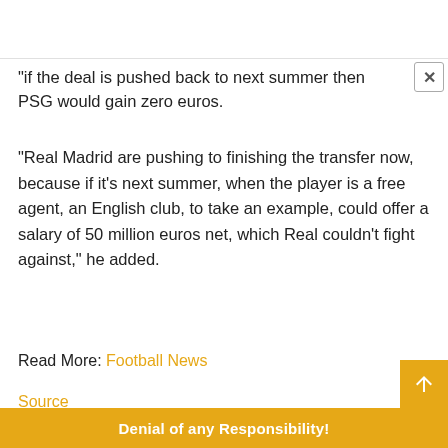if the deal is pushed back to next summer then PSG would gain zero euros.
“Real Madrid are pushing to finishing the transfer now, because if it’s next summer, when the player is a free agent, an English club, to take an example, could offer a salary of 50 million euros net, which Real couldn’t fight against,” he added.
Read More: Football News
Source
Denial of any Responsibility!